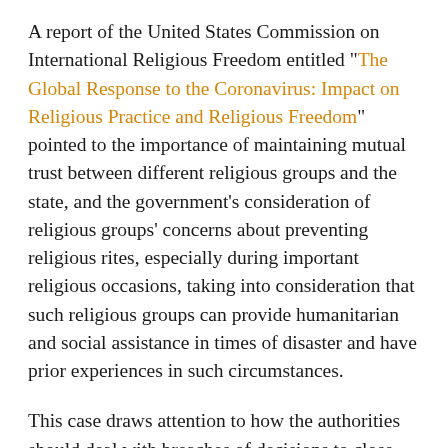A report of the United States Commission on International Religious Freedom entitled "The Global Response to the Coronavirus: Impact on Religious Practice and Religious Freedom" pointed to the importance of maintaining mutual trust between different religious groups and the state, and the government's consideration of religious groups' concerns about preventing religious rites, especially during important religious occasions, taking into consideration that such religious groups can provide humanitarian and social assistance in times of disaster and have prior experiences in such circumstances.
This case draws attention to how the authorities should deal with breaches of decisions to close places of worship and the collective practice of